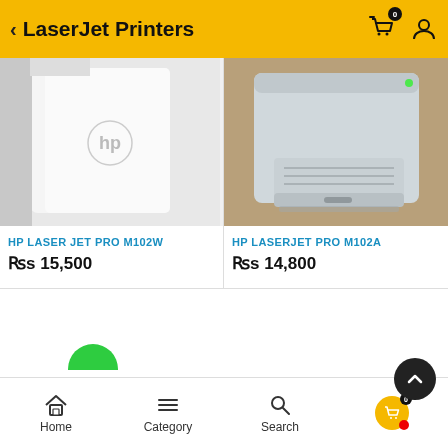LaserJet Printers
[Figure (screenshot): HP Laser Jet Pro M102W printer product image, white printer on white background]
HP LASER JET PRO M102W
Rs 15,500
[Figure (screenshot): HP LaserJet Pro M102A printer product image, grey printer on wooden desk]
HP LASERJET PRO M102A
Rs 14,800
Home  Category  Search